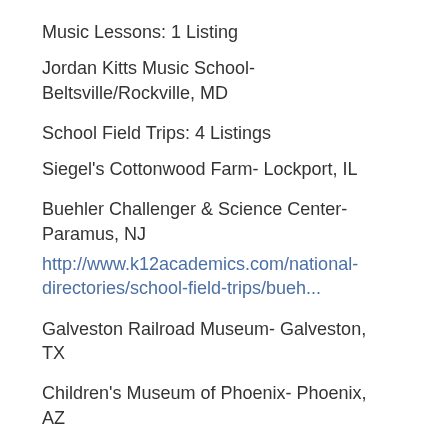Music Lessons: 1 Listing
Jordan Kitts Music School- Beltsville/Rockville, MD
School Field Trips: 4 Listings
Siegel's Cottonwood Farm- Lockport, IL
Buehler Challenger & Science Center- Paramus, NJ
http://www.k12academics.com/national-directories/school-field-trips/bueh...
Galveston Railroad Museum- Galveston, TX
Children's Museum of Phoenix- Phoenix, AZ
School Supplies & Teacher Stores: 1 Listing
The Pencil Store